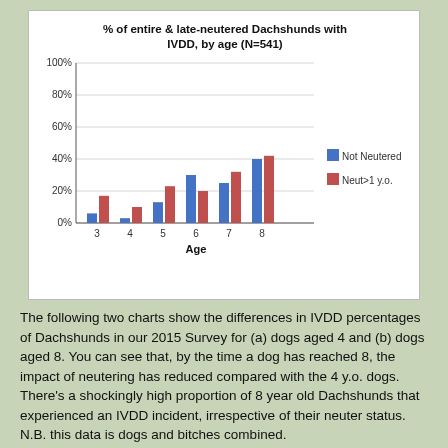[Figure (grouped-bar-chart): % of entire & late-neutered Dachshunds with IVDD, by age (N=541)]
The following two charts show the differences in IVDD percentages of Dachshunds in our 2015 Survey for (a) dogs aged 4 and (b) dogs aged 8. You can see that, by the time a dog has reached 8, the impact of neutering has reduced compared with the 4 y.o. dogs. There's a shockingly high proportion of 8 year old Dachshunds that experienced an IVDD incident, irrespective of their neuter status. N.B. this data is dogs and bitches combined.